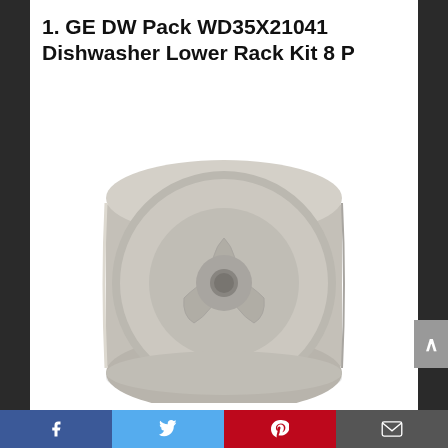1. GE DW Pack WD35X21041 Dishwasher Lower Rack Kit 8 P
[Figure (photo): A gray plastic dishwasher lower rack wheel/roller part (GE WD35X21041), cylindrical with a center hub and three spoke-like indentations on the face, shown on a white background.]
Facebook | Twitter | Pinterest | Email